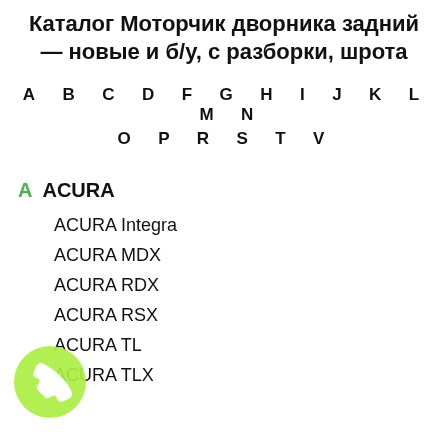Каталог Моторчик дворника задний — новые и б/у, с разборки, шрота
A B C D F G H I J K L M N O P R S T V
A ACURA
ACURA Integra
ACURA MDX
ACURA RDX
ACURA RSX
ACURA TL
ACURA TLX
[Figure (illustration): Green phone call button bubble icon in bottom left corner]